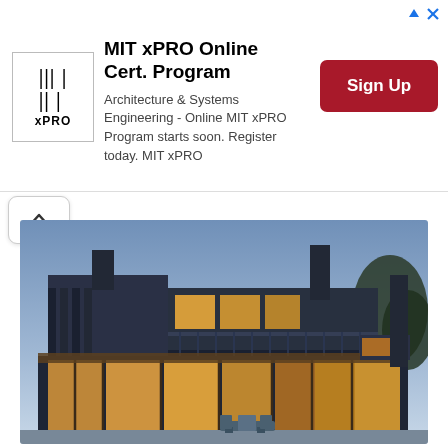[Figure (other): MIT xPRO advertisement banner with logo, text, and Sign Up button. Logo shows 'MIT xPRO' in bold. Title: 'MIT xPRO Online Cert. Program'. Body: 'Architecture & Systems Engineering - Online MIT xPRO Program starts soon. Register today. MIT xPRO'. Button: 'Sign Up' in red.]
[Figure (photo): Modern two-story residential house at dusk/twilight. Building has dark brick cladding, large floor-to-ceiling glass windows and sliding doors glowing with warm interior light, a balcony on the upper floor, a chimney, and trees visible on the right. Outdoor patio with chairs visible in the foreground.]